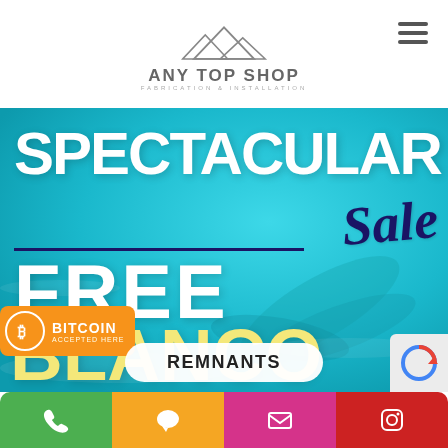ANY TOP SHOP
[Figure (screenshot): Promotional banner with teal/aqua water background showing 'SPECTACULAR Sale FREE BLANCO SINK' text, Bitcoin accepted here badge, and Remnants button]
BITCOIN ACCEPTED HERE
REMNANTS